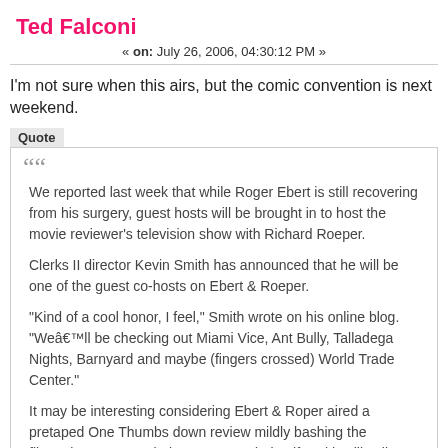Ted Falconi
« on: July 26, 2006, 04:30:12 PM »
I'm not sure when this airs, but the comic convention is next weekend.
Quote
We reported last week that while Roger Ebert is still recovering from his surgery, guest hosts will be brought in to host the movie reviewer's television show with Richard Roeper.

Clerks II director Kevin Smith has announced that he will be one of the guest co-hosts on Ebert & Roeper.

"Kind of a cool honor, I feel," Smith wrote on his online blog. "Weâ€™ll be checking out Miami Vice, Ant Bully, Talladega Nights, Barnyard and maybe (fingers crossed) World Trade Center."

It may be interesting considering Ebert & Roper aired a pretaped One Thumbs down review mildly bashing the filmmakers recent Clerks 2. I'm wondering if Smith will call Roper out on some of his comments.

The filmmaker will tape his episode next week, just prior to Wizard World Chicago.

Ebert & Roeper taped six shows in advance of Ebertâ€™s surgery, but when complications happened, Ebert's recovery was delayed.